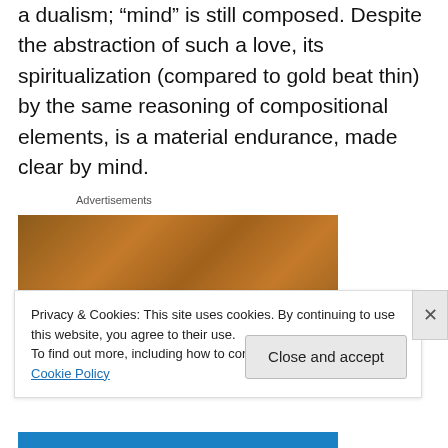a dualism; “mind” is still composed. Despite the abstraction of such a love, its spiritualization (compared to gold beat thin) by the same reasoning of compositional elements, is a material endurance, made clear by mind.
Advertisements
[Figure (photo): A brown textured surface, resembling hammered or beaten gold/metal, brownish-orange color.]
Privacy & Cookies: This site uses cookies. By continuing to use this website, you agree to their use.
To find out more, including how to control cookies, see here: Cookie Policy
Close and accept